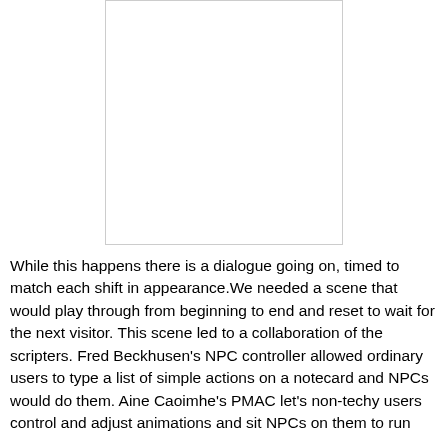[Figure (other): A white rectangular image placeholder with a light gray border, appearing at the top center of the page.]
While this happens there is a dialogue going on, timed to match each shift in appearance.We needed a scene that would play through from beginning to end and reset to wait for the next visitor. This scene led to a collaboration of the scripters. Fred Beckhusen's NPC controller allowed ordinary users to type a list of simple actions on a notecard and NPCs would do them. Aine Caoimhe's PMAC let's non-techy users control and adjust animations and sit NPCs on them to run